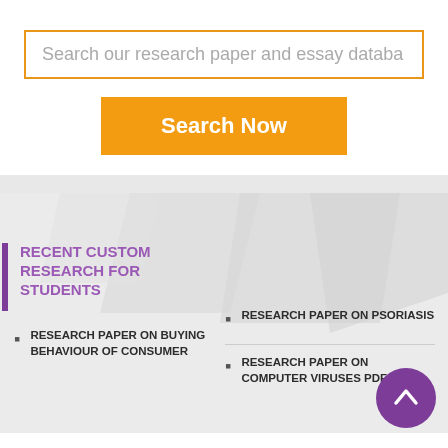Search our research paper and essay databa
Search Now
RECENT CUSTOM RESEARCH FOR STUDENTS
RESEARCH PAPER ON BUYING BEHAVIOUR OF CONSUMER
RESEARCH PAPER ON PSORIASIS
RESEARCH PAPER ON COMPUTER VIRUSES PDF